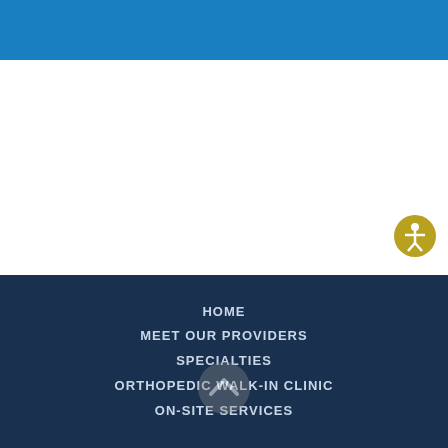[Figure (other): Blue header banner at top of medical website page]
[Figure (other): White content area of webpage]
[Figure (other): Gold accessibility icon button (person with outstretched arms in circle)]
HOME
MEET OUR PROVIDERS
SPECIALTIES
ORTHOPEDIC WALK-IN CLINIC
ON-SITE SERVICES
[Figure (other): Gray scroll-up chevron arrow icon overlay]